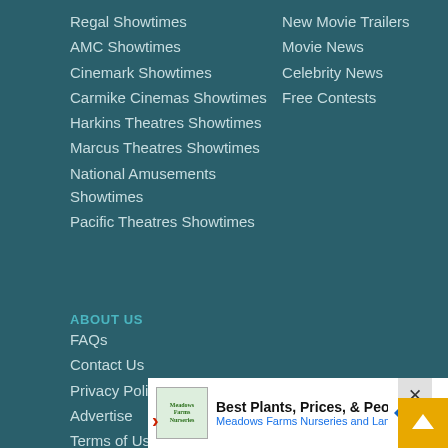Regal Showtimes
AMC Showtimes
Cinemark Showtimes
Carmike Cinemas Showtimes
Harkins Theatres Showtimes
Marcus Theatres Showtimes
National Amusements Showtimes
Pacific Theatres Showtimes
New Movie Trailers
Movie News
Celebrity News
Free Contests
ABOUT US
FAQs
Contact Us
Privacy Policy
Advertise
Terms of Use
[Figure (screenshot): Ad banner: Meadows Farms Nurseries and Landscaping advertisement with logo, text 'Best Plants, Prices, & People', navigation icon, and close/scroll buttons]